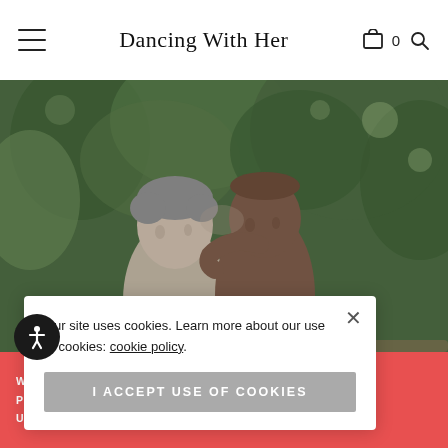Dancing With Her
[Figure (photo): Two women with short hair leaning their foreheads together in an intimate pose, outdoors with green foliage in the background]
Our site uses cookies. Learn more about our use of cookies: cookie policy
I ACCEPT USE OF COOKIES
WE'VE UPDATED OUR PRIVACY POLICY FOR YOUR SHOPPING CONVENIENCE. USE AUSTRALIAN DOLLAR INSTEAD. DISMISS